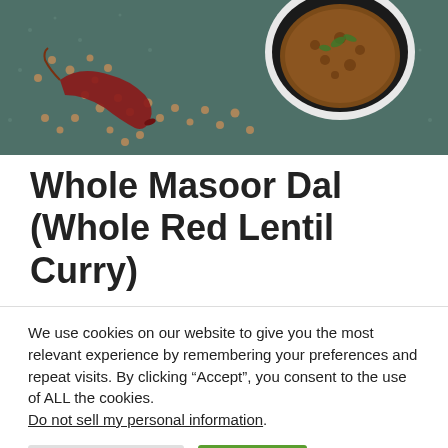[Figure (photo): Overhead photo of a bowl of whole masoor dal (red lentil curry) garnished with herbs, surrounded by scattered whole lentils and a dried red chili pepper on a teal/dark green textured surface.]
Whole Masoor Dal (Whole Red Lentil Curry)
We use cookies on our website to give you the most relevant experience by remembering your preferences and repeat visits. By clicking “Accept”, you consent to the use of ALL the cookies. Do not sell my personal information.